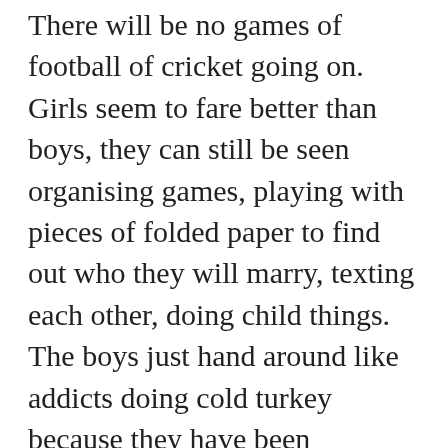There will be no games of football of cricket going on. Girls seem to fare better than boys, they can still be seen organising games, playing with pieces of folded paper to find out who they will marry, texting each other, doing child things. The boys just hand around like addicts doing cold turkey because they have been separated from their playstations or X boxes.
On TV earlier this week I heard someone talking about how much education children used to get just from being out and about in the holidays. How right that person was, we learned by osmosis and so what we learn, as it was experienced rather than just memorised, provided a foundation on which to build. Those “what I did in the hols” essays were not quite the cop out they seemed.